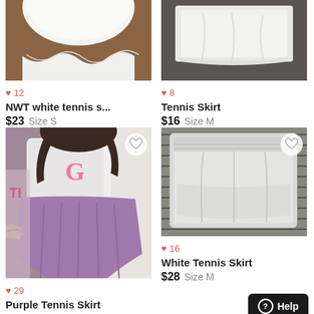[Figure (photo): White tennis skirt product photo, partial view showing bottom hem, brown wood floor background]
♥ 12
NWT white tennis s...
$23  Size S
[Figure (photo): White tennis skirt laying flat on dark surface, product photo]
♥ 8
Tennis Skirt
$16  Size M
[Figure (photo): Person wearing purple pleated tennis skirt with white crop top, with heart/unfavorite button overlay]
♥ 29
Purple Tennis Skirt
[Figure (photo): White tennis skirt laid flat on gray textile background, with heart/unfavorite button overlay]
♥ 16
White Tennis Skirt
$28  Size M